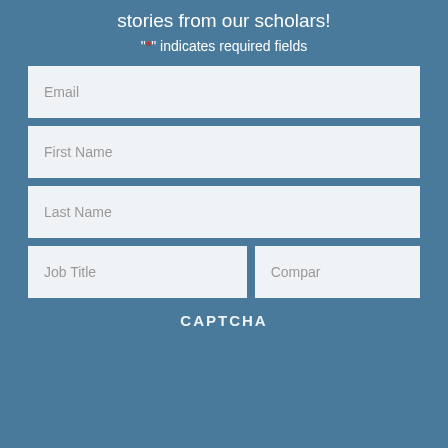stories from our scholars!
"*" indicates required fields
Email
First Name
Last Name
Job Title
Compar
CAPTCHA